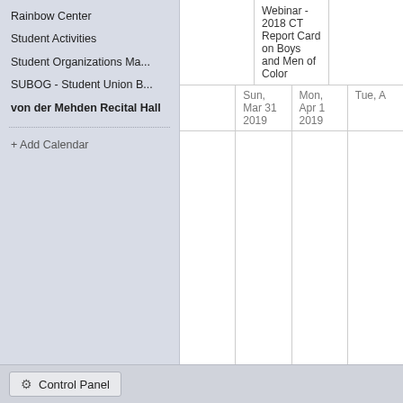Rainbow Center
Student Activities
Student Organizations Ma...
SUBOG - Student Union B...
von der Mehden Recital Hall
+ Add Calendar
|  | Sun, Mar 31 2019 | Mon, Apr 1 2019 | Tue, A... |
| --- | --- | --- | --- |
|  | Webinar - 2018 CT Report Card on Boys and Men of Color |  |  |
Control Panel